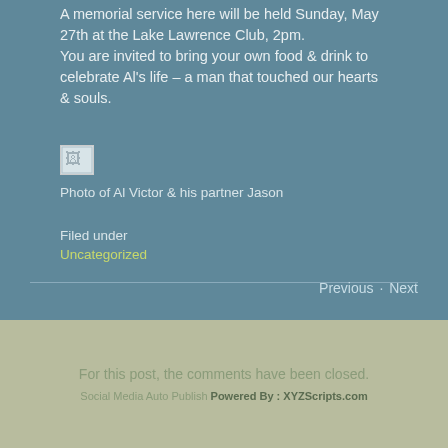A memorial service here will be held Sunday, May 27th at the Lake Lawrence Club, 2pm. You are invited to bring your own food & drink to celebrate Al's life – a man that touched our hearts & souls.
[Figure (photo): Broken/missing image placeholder for photo of Al Victor & his partner Jason]
Photo of Al Victor & his partner Jason
Filed under
Uncategorized
Previous · Next
For this post, the comments have been closed.
Social Media Auto Publish Powered By : XYZScripts.com